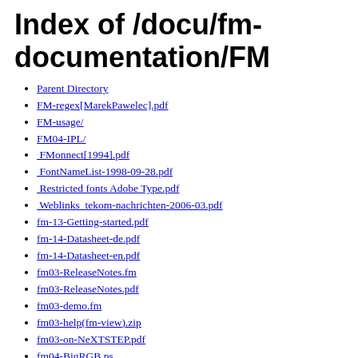Index of /docu/fm-documentation/FM
Parent Directory
FM-regex[MarekPawelec].pdf
FM-usage/
FM04-IPL/
FMonnect[1994].pdf
FontNameList-1998-09-28.pdf
Restricted fonts Adobe Type.pdf
Weblinks_tekom-nachrichten-2006-03.pdf
fm-13-Getting-started.pdf
fm-14-Datasheet-de.pdf
fm-14-Datasheet-en.pdf
fm03-ReleaseNotes.fm
fm03-ReleaseNotes.pdf
fm03-demo.fm
fm03-help(fm-view).zip
fm03-on-NeXTSTEP.pdf
fm04-BigRGB.ps
fm04-CreateOnlineDoc.pdf
fm04-Customizing_Frame_Products.pdf